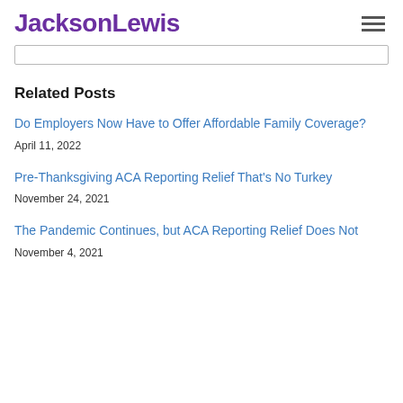JacksonLewis
Related Posts
Do Employers Now Have to Offer Affordable Family Coverage?
April 11, 2022
Pre-Thanksgiving ACA Reporting Relief That's No Turkey
November 24, 2021
The Pandemic Continues, but ACA Reporting Relief Does Not
November 4, 2021